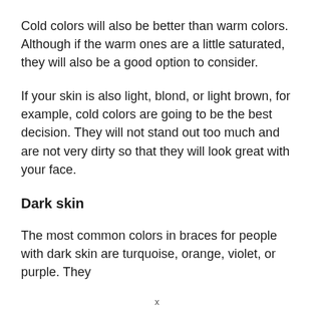Cold colors will also be better than warm colors. Although if the warm ones are a little saturated, they will also be a good option to consider.
If your skin is also light, blond, or light brown, for example, cold colors are going to be the best decision. They will not stand out too much and are not very dirty so that they will look great with your face.
Dark skin
The most common colors in braces for people with dark skin are turquoise, orange, violet, or purple. They
x